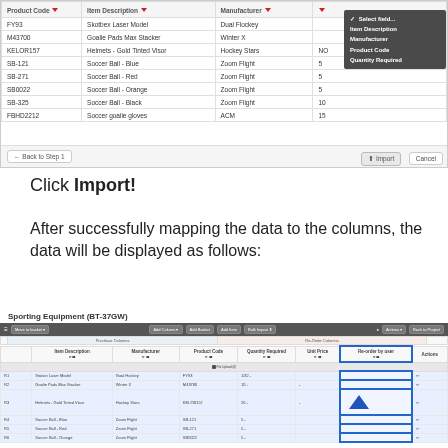[Figure (screenshot): A UI screenshot showing a data import mapping interface with a table of sporting goods products (Product Code, Item Description, Manufacturer columns) and a dropdown menu open showing field options: Select field..., Item Description, Manufacturer, Product Code, Quantity Required. A bottom bar has Back to Step 1, Import, and Cancel buttons.]
Click Import!
After successfully mapping the data to the columns, the data will be displayed as follows:
[Figure (screenshot): A UI screenshot showing the Sporting Equipment (BT-37GW) page with a toolbar and a table with columns: Item Description, Manufacturer, Product Code, Quantity Required, Unit Price, Re-order by user, Actions. Rows include items like Station Laser Model, Goalie Pads Max Stacker, Helmets Gold Tinted Visor, Soccer Ball Blue, Soccer Ball Red, Soccer Ball Orange. The Re-order by user column is highlighted with a blue border.]